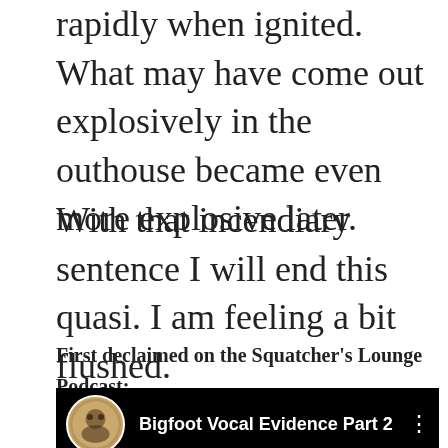rapidly when ignited. What may have come out explosively in the outhouse became even more explosive later.
With that incendiary sentence I will end this quasi. I am feeling a bit flushed.
First declaimed on the Squatcher's Lounge Podcast:
[Figure (screenshot): YouTube video thumbnail showing 'Bigfoot Vocal Evidence Part 2' with a circular channel icon and red text bar at bottom reading 'YOUTUBE.COM/SLOUNGER PODCAST']